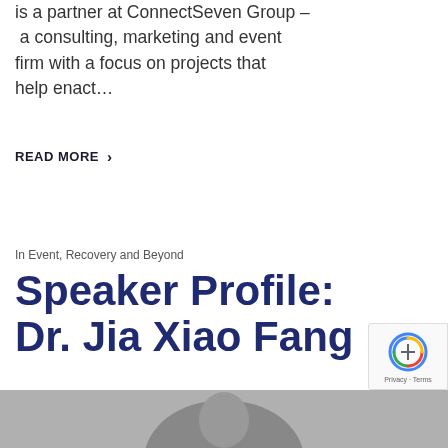is a partner at ConnectSeven Group – a consulting, marketing and event firm with a focus on projects that help enact…
READ MORE >
In Event, Recovery and Beyond
Speaker Profile: Dr. Jia Xiao Fang
[Figure (photo): Partial photo strip at bottom of page showing a person, cropped.]